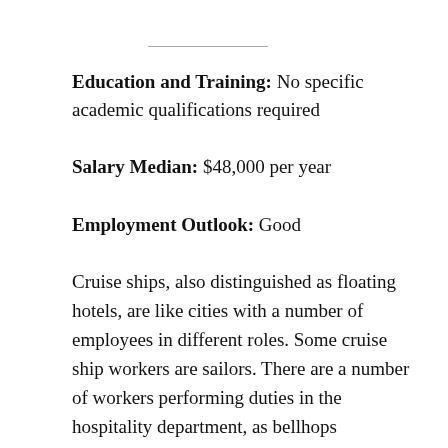Education and Training: No specific academic qualifications required
Salary Median: $48,000 per year
Employment Outlook: Good
Cruise ships, also distinguished as floating hotels, are like cities with a number of employees in different roles. Some cruise ship workers are sailors. There are a number of workers performing duties in the hospitality department, as bellhops